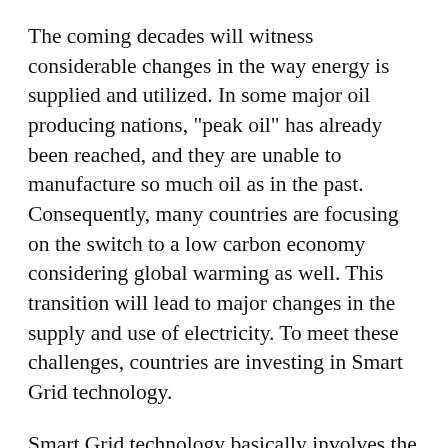The coming decades will witness considerable changes in the way energy is supplied and utilized. In some major oil producing nations, "peak oil" has already been reached, and they are unable to manufacture so much oil as in the past. Consequently, many countries are focusing on the switch to a low carbon economy considering global warming as well. This transition will lead to major changes in the supply and use of electricity. To meet these challenges, countries are investing in Smart Grid technology.
Smart Grid technology basically involves the application of a computer system to the electricity network. The computer system can be used to collect information about supply and demand. With better information about electricity demand, the network will be able to increase the amount of electricity delivered per unit generated, leading to potential reductions in